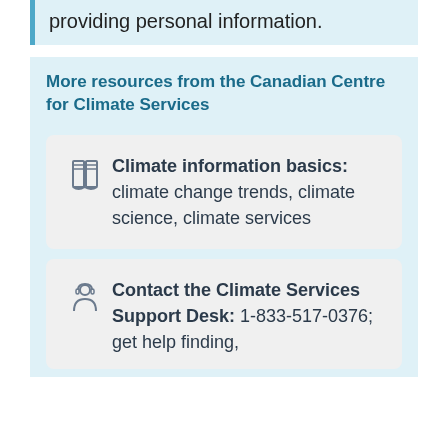providing personal information.
More resources from the Canadian Centre for Climate Services
Climate information basics: climate change trends, climate science, climate services
Contact the Climate Services Support Desk: 1-833-517-0376; get help finding,